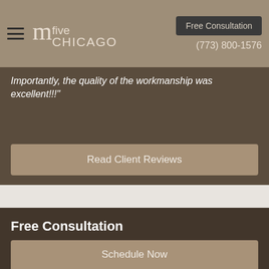mfive CHICAGO | Free Consultation | (773) 800-1576
Importantly, the quality of the workmanship was excellent!!!"
Read Client Reviews
Free Consultation
Schedule a free consultation online or give us a call now at (773) 800-1576
Schedule Now